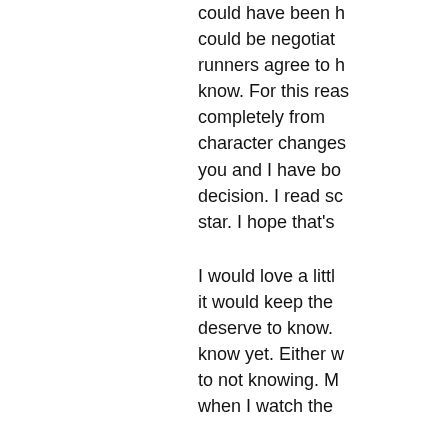could have been negotiated. could be negotiat runners agree to h know. For this reas completely from character changes you and I have bo decision. I read sc star. I hope that's
I would love a littl it would keep the deserve to know. know yet. Either w to not knowing. M when I watch the
Always a fan, but r
Liked by 1 person